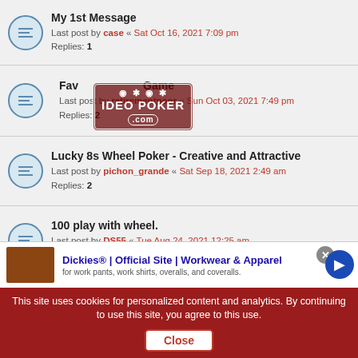My 1st Message
Last post by case « Sat Oct 16, 2021 7:09 pm
Replies: 1
Favorite Game
Last post by retirementpoor « Sun Oct 03, 2021 7:49 pm
Replies: 2
Lucky 8s Wheel Poker - Creative and Attractive
Last post by pichon_grande « Sat Sep 18, 2021 2:49 am
Replies: 2
100 play with wheel.
Last post by DS55 « Tue Aug 24, 2021 12:25 am
Replies: 3
What game was I playing?--Encore Boston
Last post by mike elbedewy « Fri Aug 20, 2021 11:51 am
Replies: 30 Pages: 1 2 3 4
Triple/Triple Bonus in Vegas
Last post by Vman96 « Thu Aug 19, 2021 1:52 pm
Dickies® | Official Site | Workwear & Apparel
for work pants, work shirts, overalls, and coveralls.
This site uses cookies for personalized content and analytics. By continuing to use this site, you agree to this use. Close